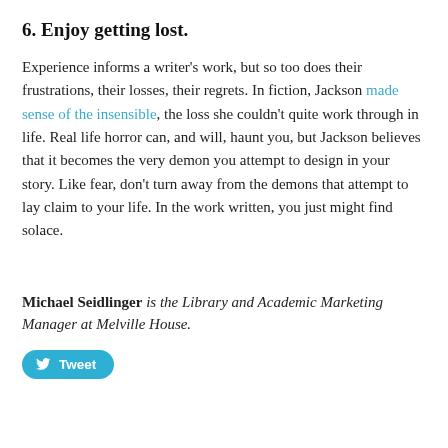6. Enjoy getting lost.
Experience informs a writer’s work, but so too does their frustrations, their losses, their regrets. In fiction, Jackson made sense of the insensible, the loss she couldn’t quite work through in life. Real life horror can, and will, haunt you, but Jackson believes that it becomes the very demon you attempt to design in your story. Like fear, don’t turn away from the demons that attempt to lay claim to your life. In the work written, you just might find solace.
Michael Seidlinger is the Library and Academic Marketing Manager at Melville House.